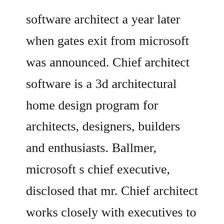software architect a year later when gates exit from microsoft was announced. Chief architect software is a 3d architectural home design program for architects, designers, builders and enthusiasts. Ballmer, microsoft s chief executive, disclosed that mr. Chief architect works closely with executives to set long term vision for the company in addition to working closely with business to align technology vision with product vision. Ray ozzie, microsoft software architect, quits the new. On the afternoon it announced the departure of one of its most senior executives